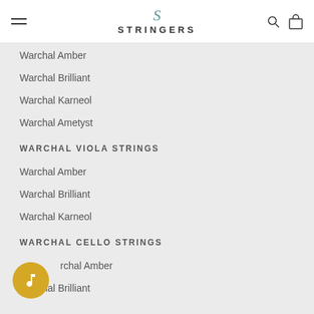STRINGERS
Warchal Amber
Warchal Brilliant
Warchal Karneol
Warchal Ametyst
WARCHAL VIOLA STRINGS
Warchal Amber
Warchal Brilliant
Warchal Karneol
WARCHAL CELLO STRINGS
Warchal Amber
Warchal Brilliant